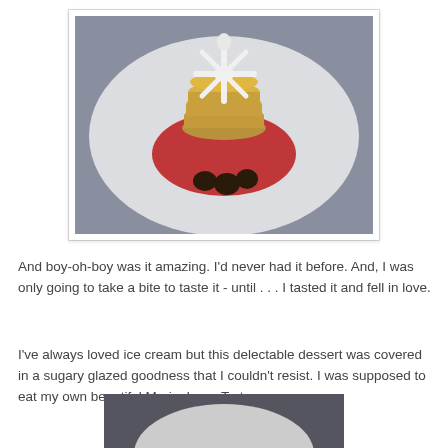[Figure (photo): A fancy dessert on a white plate: a round golden cake/torte topped with a white snowflake-shaped cream decoration, sitting in a pool of red berry sauce, with three dark chocolate drops arranged at the bottom of the plate.]
And boy-oh-boy was it amazing. I'd never had it before. And, I was only going to take a bite to taste it - until . . . I tasted it and fell in love.
I've always loved ice cream but this delectable dessert was covered in a sugary glazed goodness that I couldn't resist. I was supposed to eat my own beautiful Marionberry Torte
[Figure (photo): Partial photo of another dessert, cut off at the bottom of the page.]